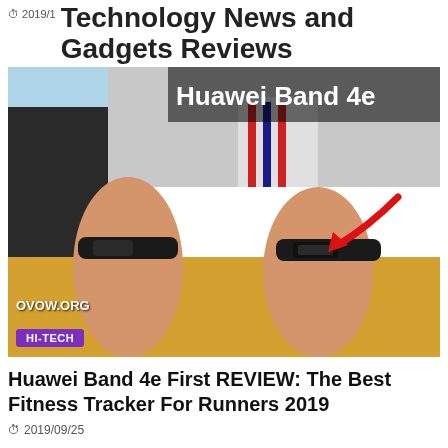Technology News and Gadgets Reviews
[Figure (photo): Photo of two wrists wearing fitness bands (Huawei Band 4e), resting on a yellow surface. Text overlay reads 'Huawei Band 4e'. A red arrow points to the band on the right wrist. Watermark reads 'OVOW.ORG'. A purple 'HI-TECH' badge appears at the bottom left.]
Huawei Band 4e First REVIEW: The Best Fitness Tracker For Runners 2019
2019/09/25